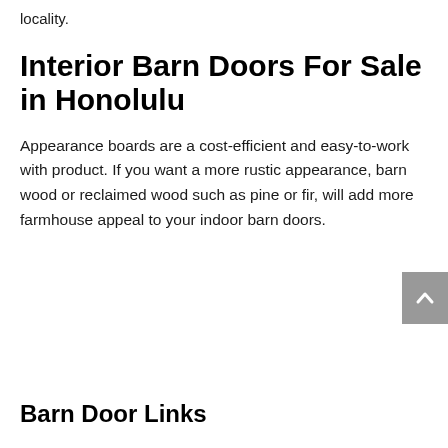locality.
Interior Barn Doors For Sale in Honolulu
Appearance boards are a cost-efficient and easy-to-work with product. If you want a more rustic appearance, barn wood or reclaimed wood such as pine or fir, will add more farmhouse appeal to your indoor barn doors.
Barn Door Links